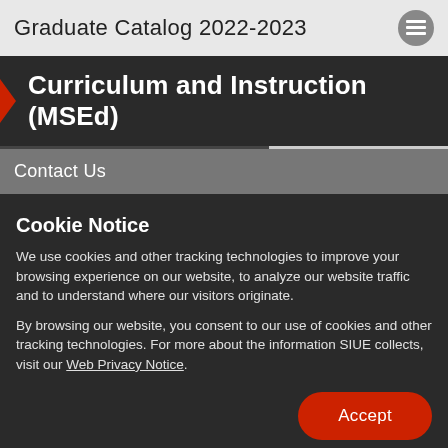Graduate Catalog 2022-2023
Curriculum and Instruction (MSEd)
Contact Us
Cookie Notice
We use cookies and other tracking technologies to improve your browsing experience on our website, to analyze our website traffic and to understand where our visitors originate.
By browsing our website, you consent to our use of cookies and other tracking technologies. For more about the information SIUE collects, visit our Web Privacy Notice.